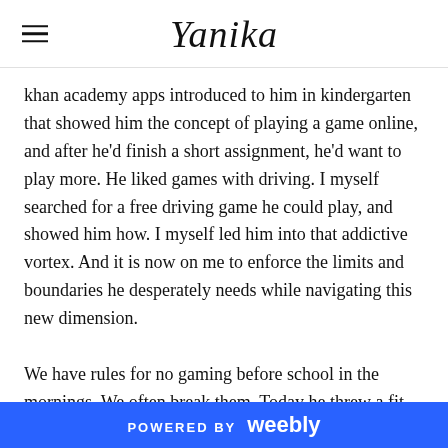Yanika
khan academy apps introduced to him in kindergarten that showed him the concept of playing a game online, and after he'd finish a short assignment, he'd want to play more. He liked games with driving. I myself searched for a free driving game he could play, and showed him how. I myself led him into that addictive vortex. And it is now on me to enforce the limits and boundaries he desperately needs while navigating this new dimension.
We have rules for no gaming before school in the mornings. We often break them. Today he threw a fit when it was time to turn off the game. Didn't want to get dressed and go. I lost my patience and raised my voice.
POWERED BY weebly